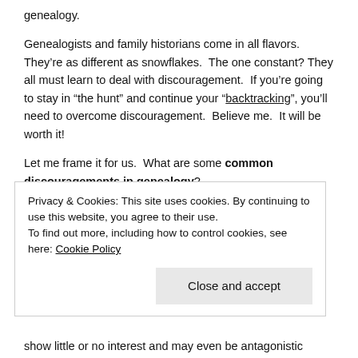genealogy.
Genealogists and family historians come in all flavors. They’re as different as snowflakes. The one constant? They all must learn to deal with discouragement. If you’re going to stay in “the hunt” and continue your “backtracking”, you’ll need to overcome discouragement. Believe me. It will be worth it!
Let me frame it for us. What are some common discouragements in genealogy?
The learning curve. We can't learn fast enough to
Privacy & Cookies: This site uses cookies. By continuing to use this website, you agree to their use.
To find out more, including how to control cookies, see here: Cookie Policy
show little or no interest and may even be antagonistic